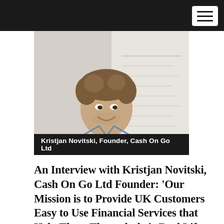[Figure (photo): Portrait photo of a smiling man with curly hair wearing a denim jacket, standing in front of a whiteboard with writing on it. Caption overlay reads: Kristjan Novitski, Founder, Cash On Go Ltd]
Kristjan Novitski, Founder, Cash On Go Ltd
An Interview with Kristjan Novitski, Cash On Go Ltd Founder: ‘Our Mission is to Provide UK Customers Easy to Use Financial Services that Help Them Through their Real Life Unexpected Situations and Cash Management Needs’